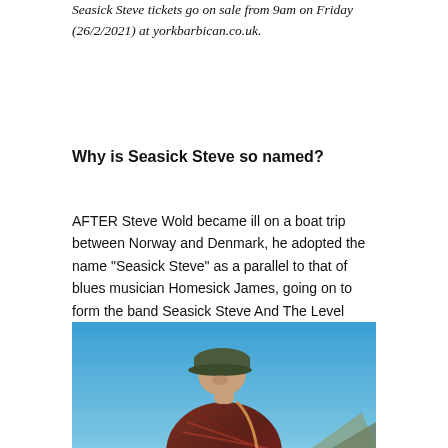Seasick Steve tickets go on sale from 9am on Friday (26/2/2021) at yorkbarbican.co.uk.
Why is Seasick Steve so named?
AFTER Steve Wold became ill on a boat trip between Norway and Denmark, he adopted the name “Seasick Steve” as a parallel to that of blues musician Homesick James, going on to form the band Seasick Steve And The Level Devils.
[Figure (photo): Photo of a person wearing a dark olive baseball cap and a patterned shirt, photographed outdoors against a clear blue sky with a hint of mountains.]